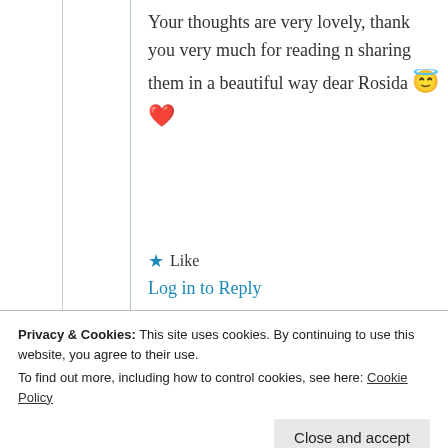Your thoughts are very lovely, thank you very much for reading n sharing them in a beautiful way dear Rosida 😇❤️
★ Like
Log in to Reply
rosidabegum
Privacy & Cookies: This site uses cookies. By continuing to use this website, you agree to their use.
To find out more, including how to control cookies, see here: Cookie Policy
Close and accept
dear💕💕